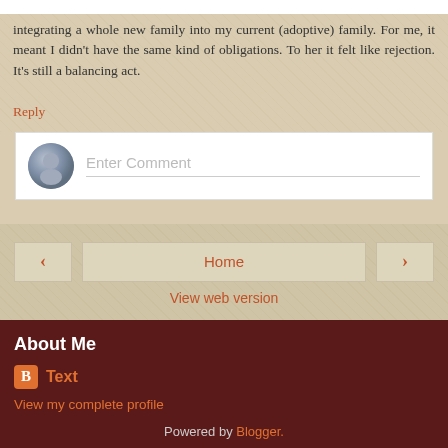integrating a whole new family into my current (adoptive) family. For me, it meant I didn't have the same kind of obligations. To her it felt like rejection. It's still a balancing act.
Reply
[Figure (screenshot): Comment input box with user avatar and placeholder text 'Enter Comment']
[Figure (screenshot): Navigation bar with back arrow, Home button, and forward arrow]
View web version
About Me
Text
View my complete profile
Powered by Blogger.